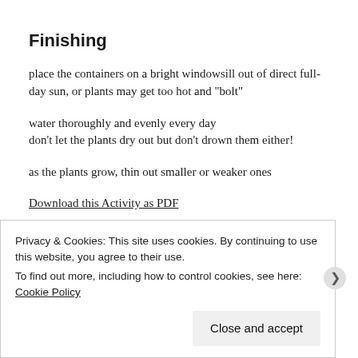Finishing
place the containers on a bright windowsill out of direct full-day sun, or plants may get too hot and "bolt"
water thoroughly and evenly every day
don't let the plants dry out but don't drown them either!
as the plants grow, thin out smaller or weaker ones
Download this Activity as PDF
Privacy & Cookies: This site uses cookies. By continuing to use this website, you agree to their use.
To find out more, including how to control cookies, see here: Cookie Policy